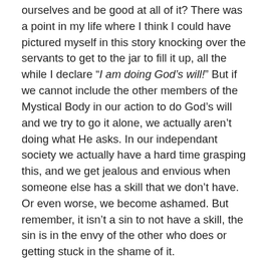ourselves and be good at all of it?  There was a point in my life where I think I could have pictured myself in this story knocking over the servants to get to the jar to fill it up, all the while I declare “I am doing God’s will!”  But if we cannot include the other members of the Mystical Body in our action to do God’s will and we try to go it alone, we actually aren’t doing what He asks.  In our independant society we actually have a hard time grasping this, and we get jealous and envious when someone else has a skill that we don’t have.  Or even worse, we become ashamed.  But remember, it isn’t a sin to not have a skill, the sin is in the envy of the other who does or getting stuck in the shame of it.
I am going to give you a recent example from my own life.  I am not a good cook.  I also am not great at knowing